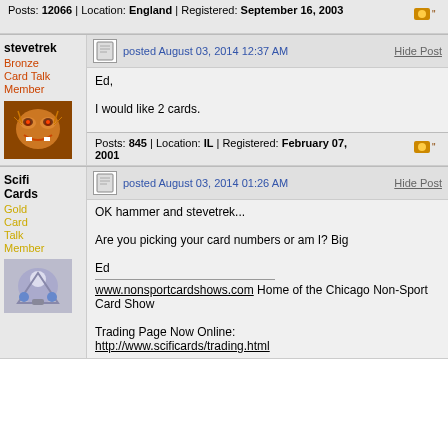Posts: 12066 | Location: England | Registered: September 16, 2003
stevetrek
Bronze Card Talk Member
posted August 03, 2014 12:37 AM
Hide Post
Ed,
I would like 2 cards.
Posts: 845 | Location: IL | Registered: February 07, 2001
Scifi Cards
Gold Card Talk Member
posted August 03, 2014 01:26 AM
Hide Post
OK hammer and stevetrek...
Are you picking your card numbers or am I? Big
Ed
www.nonsportcardshows.com Home of the Chicago Non-Sport Card Show
Trading Page Now Online:
http://www.scificards/trading.html